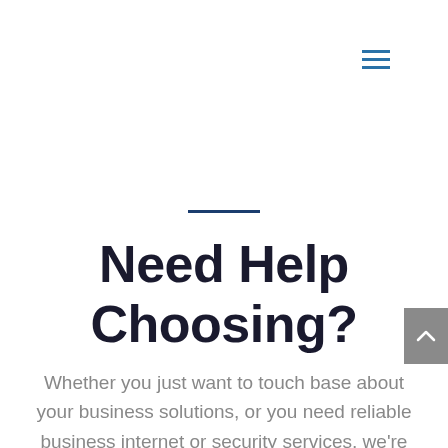≡ (hamburger menu icon)
Need Help Choosing?
Whether you just want to touch base about your business solutions, or you need reliable business internet or security services, we're